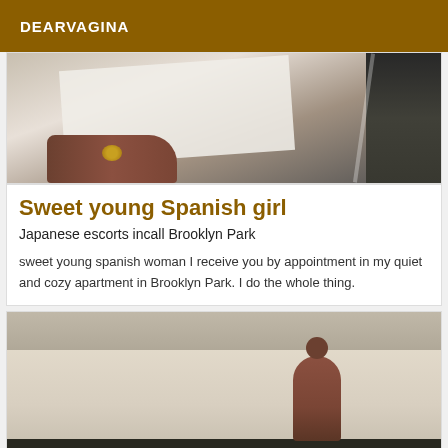DEARVAGINA
[Figure (photo): Close-up photo of a hand with a gold ring resting on a light-colored surface, with dark objects in the background]
Sweet young Spanish girl
Japanese escorts incall Brooklyn Park
sweet young spanish woman I receive you by appointment in my quiet and cozy apartment in Brooklyn Park. I do the whole thing.
[Figure (photo): Photo of a person in a room with light-colored walls and a dark floor]